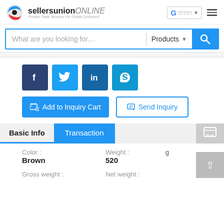sellersunion ONLINE - Provide Trade Services For Global Customers
[Figure (screenshot): Search bar with 'What are you looking for....' placeholder, Products dropdown, and blue search button]
[Figure (infographic): Social media icon buttons: Facebook, Twitter, LinkedIn, Skype]
Add to Inquiry Cart   Send Inquiry
Basic Info   Transaction
Color :   Brown
Weight :   520 g
Gross weight :
Net weight :